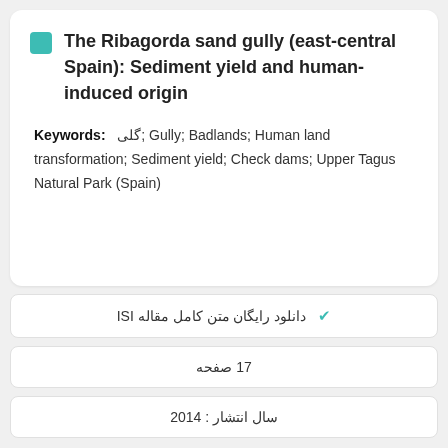The Ribagorda sand gully (east-central Spain): Sediment yield and human-induced origin
Keywords: گلی; Gully; Badlands; Human land transformation; Sediment yield; Check dams; Upper Tagus Natural Park (Spain)
دانلود رایگان متن کامل مقاله ISI
17 صفحه
سال انتشار : 2014